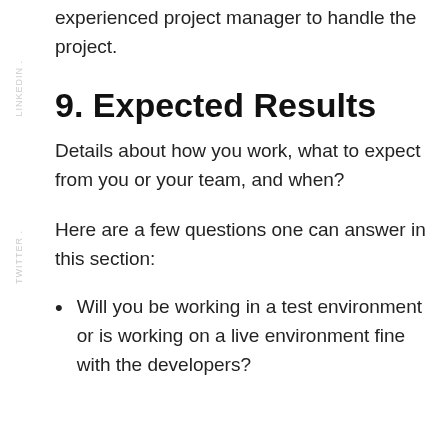experienced project manager to handle the project.
9. Expected Results
Details about how you work, what to expect from you or your team, and when?
Here are a few questions one can answer in this section:
Will you be working in a test environment or is working on a live environment fine with the developers?